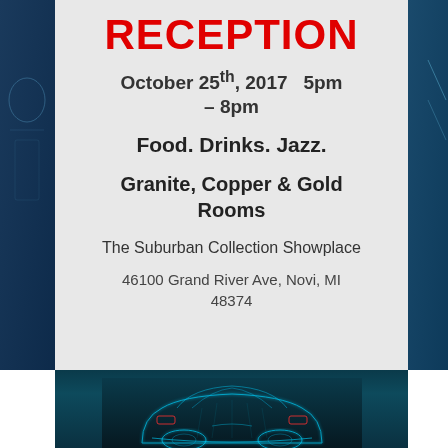RECEPTION
October 25th, 2017    5pm – 8pm
Food. Drinks. Jazz.
Granite, Copper & Gold Rooms
The Suburban Collection Showplace
46100 Grand River Ave, Novi, MI 48374
[Figure (photo): Bottom portion showing a glowing blue wireframe/neon car rendered in a dark teal background, viewed from the rear.]